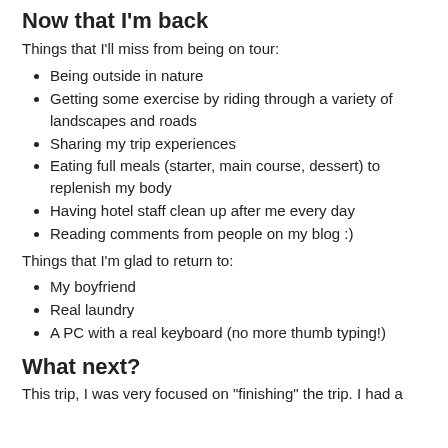Now that I'm back
Things that I'll miss from being on tour:
Being outside in nature
Getting some exercise by riding through a variety of landscapes and roads
Sharing my trip experiences
Eating full meals (starter, main course, dessert) to replenish my body
Having hotel staff clean up after me every day
Reading comments from people on my blog :)
Things that I'm glad to return to:
My boyfriend
Real laundry
A PC with a real keyboard (no more thumb typing!)
What next?
This trip, I was very focused on "finishing" the trip. I had a